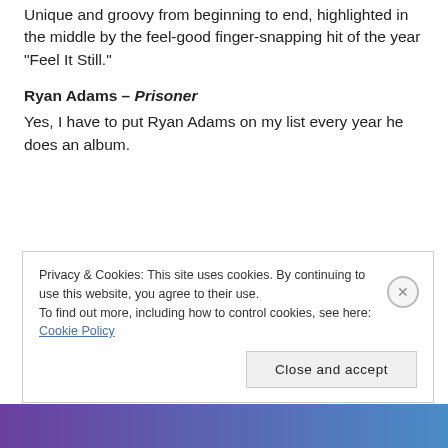Unique and groovy from beginning to end, highlighted in the middle by the feel-good finger-snapping hit of the year “Feel It Still.”
Ryan Adams – Prisoner
Yes, I have to put Ryan Adams on my list every year he does an album.
Privacy & Cookies: This site uses cookies. By continuing to use this website, you agree to their use.
To find out more, including how to control cookies, see here: Cookie Policy